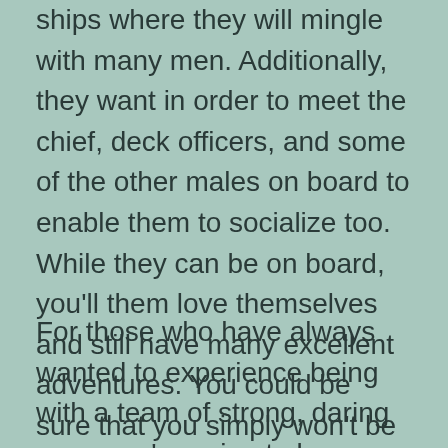ships where they will mingle with many men. Additionally, they want in order to meet the chief, deck officers, and some of the other males on board to enable them to socialize too. While they can be on board, you'll them love themselves and still have many excellent adventures. You could be sure that you simply won't be disappointed by their perceptions and their ventures.
For those who have always wanted to experience being with a team of strong, daring men, you're going to be thrilled at the time you take one of the cruises. These types of women